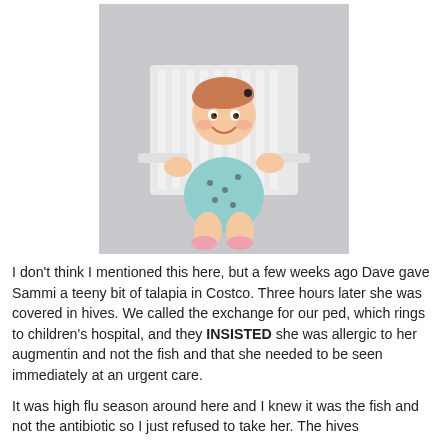[Figure (photo): A smiling baby/toddler with light red hair wearing a light blue/mint patterned dress, sitting in a white Adirondack chair against a light gray studio background.]
I don't think I mentioned this here, but a few weeks ago Dave gave Sammi a teeny bit of talapia in Costco. Three hours later she was covered in hives. We called the exchange for our ped, which rings to children's hospital, and they INSISTED she was allergic to her augmentin and not the fish and that she needed to be seen immediately at an urgent care.
It was high flu season around here and I knew it was the fish and not the antibiotic so I just refused to take her. The hives